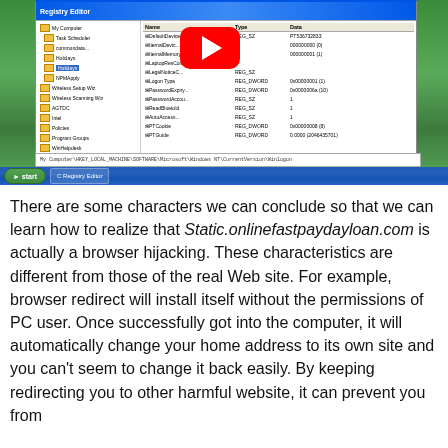[Figure (screenshot): Screenshot of Windows XP desktop showing a Registry Editor window with various registry keys and values listed, overlaid with a YouTube play button icon. The taskbar at the bottom shows the Start button and an open window item. An address bar at the bottom of the registry window shows a registry path.]
There are some characters we can conclude so that we can learn how to realize that Static.onlinefastpaydayloan.com is actually a browser hijacking. These characteristics are different from those of the real Web site. For example, browser redirect will install itself without the permissions of PC user. Once successfully got into the computer, it will automatically change your home address to its own site and you can't seem to change it back easily. By keeping redirecting you to other harmful website, it can prevent you from accessing the site that it specifies it. S